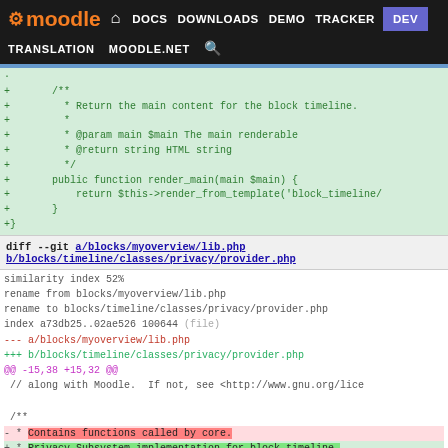moodle DOCS DOWNLOADS DEMO TRACKER DEV TRANSLATION MOODLE.NET
[Figure (screenshot): Moodle developer site navigation bar with logo, nav links (DOCS, DOWNLOADS, DEMO, TRACKER, DEV highlighted in purple), and secondary nav (TRANSLATION, MOODLE.NET, search icon)]
+ /**
+     * Return the main content for the block timeline.
+     *
+     * @param main $main The main renderable
+     * @return string HTML string
+     */
+     public function render_main(main $main) {
+         return $this->render_from_template('block_timeline/
+     }
+}
diff --git a/blocks/myoverview/lib.php b/blocks/timeline/classes/privacy/provider.php
similarity index 52%
rename from blocks/myoverview/lib.php
rename to blocks/timeline/classes/privacy/provider.php
index a73db25..02ae526 100644 (file)
--- a/blocks/myoverview/lib.php
+++ b/blocks/timeline/classes/privacy/provider.php
@@ -15,38 +15,32 @@
 // along with Moodle.  If not, see <http://www.gnu.org/lice

 /**
 - * Contains functions called by core.
 + * Privacy Subsystem implementation for block_timeline.